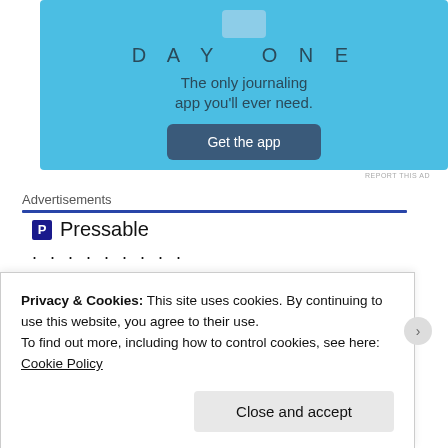[Figure (screenshot): Day One journaling app advertisement banner with light blue background, showing app icon, title 'DAY ONE', tagline 'The only journaling app you'll ever need.', and a 'Get the app' button]
REPORT THIS AD
Advertisements
[Figure (logo): Pressable logo with dark blue 'P' icon in a square and 'Pressable' text beside it, followed by a row of dots]
The Platform
Privacy & Cookies: This site uses cookies. By continuing to use this website, you agree to their use.
To find out more, including how to control cookies, see here:
Cookie Policy
Close and accept